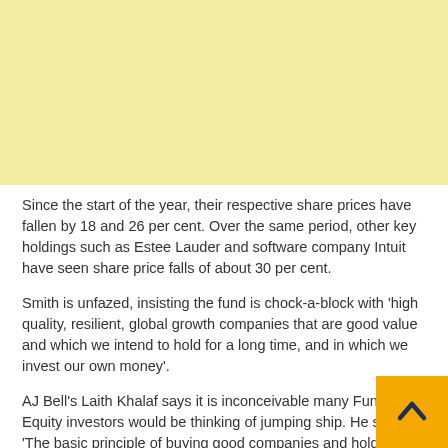[Figure (other): Yellow/cream colored banner at top of page, decorative background element]
Since the start of the year, their respective share prices have fallen by 18 and 26 per cent. Over the same period, other key holdings such as Estee Lauder and software company Intuit have seen share price falls of about 30 per cent.
Smith is unfazed, insisting the fund is chock-a-block with 'high quality, resilient, global growth companies that are good value and which we intend to hold for a long time, and in which we invest our own money'.
AJ Bell's Laith Khalaf says it is inconceivable many Fundsmith Equity investors would be thinking of jumping ship. He says: 'The basic principle of buying good companies and holding them for nearly ever is an enduring one that should deliver over the long term.'